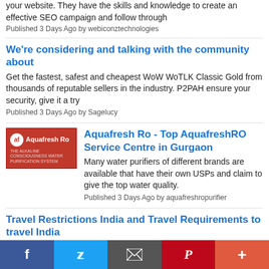your website. They have the skills and knowledge to create an effective SEO campaign and follow through
Published 3 Days Ago by webiconztechnologies
We're considering and talking with the community about
Get the fastest, safest and cheapest WoW WoTLK Classic Gold from thousands of reputable sellers in the industry. P2PAH ensure your security, give it a try
Published 3 Days Ago by Sagelucy
Aquafresh Ro - Top AquafreshRO Service Centre in Gurgaon
[Figure (logo): Aquafresh Ro logo on red background]
Many water purifiers of different brands are available that have their own USPs and claim to give the top water quality.
Published 3 Days Ago by aquafreshropurifier
Travel Restrictions India and Travel Requirements to travel India
Travelocrazy is the resource for travelers When you are
Facebook | Twitter | Email | Pinterest | More